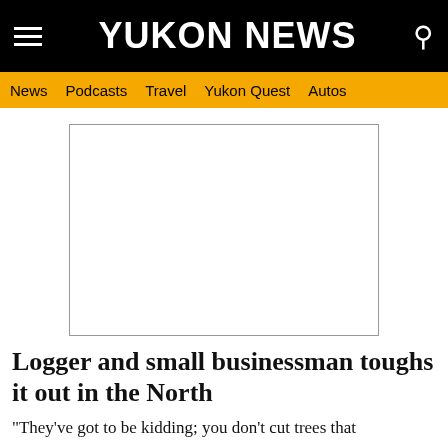YUKON NEWS
News  Podcasts  Travel  Yukon Quest  Autos
[Figure (other): Advertisement placeholder — empty white rectangle with thin border]
Logger and small businessman toughs it out in the North
"They've got to be kidding; you don't cut trees that